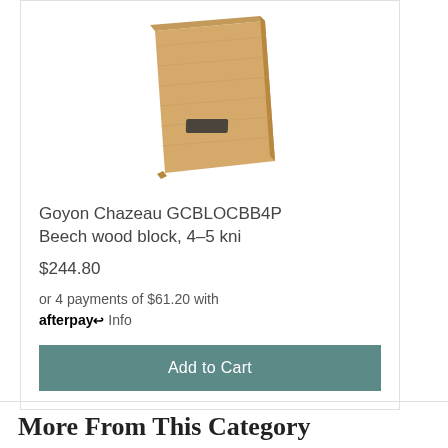[Figure (photo): Beech wood knife block, a light-colored rectangular wooden block with a small dark magnetic strip, shown angled slightly to the right on a white background.]
Goyon Chazeau GCBLOCBB4P Beech wood block, 4-5 kni
$244.80
or 4 payments of $61.20 with afterpay Info
Add to Cart
More From This Category